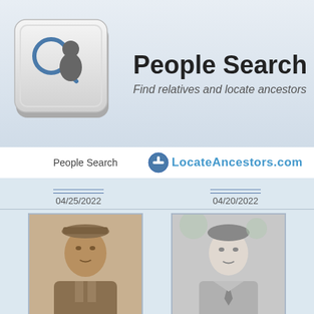[Figure (logo): Keyboard key icon with magnifying glass and person silhouette graphic]
People Search
Find relatives and locate ancestors
People Search   LocateAncestors.com
04/25/2022
04/20/2022
[Figure (photo): Sepia-toned portrait photo of James H Sullins in military uniform]
JAMES H SULLINS
04/05/2022
[Figure (photo): Black and white portrait photo of John A Ruocco in suit and tie]
JOHN A RUOCCO
03/28/2022
[Figure (photo): Color photo of person with white hat, partially visible]
[Figure (photo): Black and white photo of couple, wedding scene in archway, partially visible]